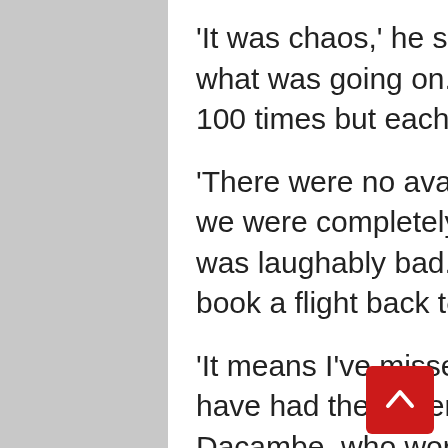'It was chaos,' he said yesterday. 'No-one knew what was going on. We must have phoned EasyJet 100 times but each time we just got cut off.
'There were no available flights leaving the island so we were completely stuck. Their customer service was laughably bad.' They eventually managed to book a flight back to Gatwick yesterday.
'It means I've missed two days of work, so patients have had their operations cancelled,' said Mr Dacambe, who works at Great Western Hospital.
'Our eldest has also missed two days of school. We would never book with